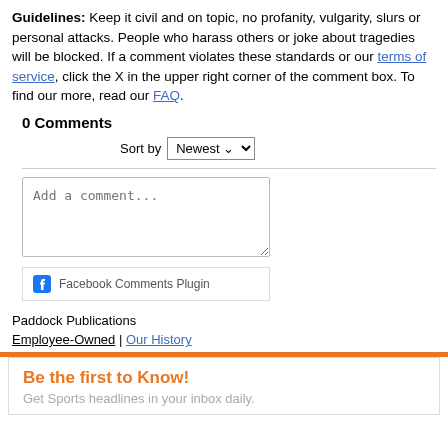Guidelines: Keep it civil and on topic, no profanity, vulgarity, slurs or personal attacks. People who harass others or joke about tragedies will be blocked. If a comment violates these standards or our terms of service, click the X in the upper right corner of the comment box. To find our more, read our FAQ.
0 Comments
Sort by Newest
[Figure (screenshot): Comment text input box with placeholder text 'Add a comment...']
Facebook Comments Plugin
Paddock Publications
Employee-Owned | Our History
Be the first to Know! Get Sports headlines in your inbox daily.